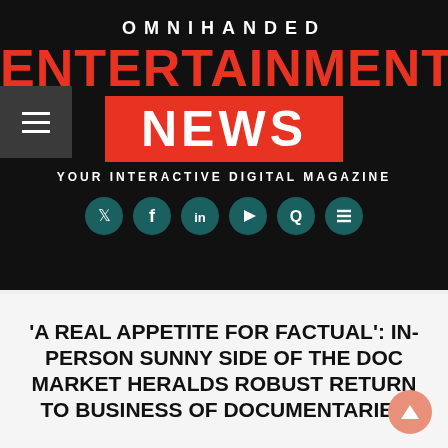OMNIHANDED
ENTERTAINMENT NEWS
YOUR INTERACTIVE DIGITAL MAGAZINE
[Figure (other): Social media icons in teal circles: Twitter, Facebook, LinkedIn, YouTube, Quora, Stack Exchange]
'A REAL APPETITE FOR FACTUAL': IN-PERSON SUNNY SIDE OF THE DOC MARKET HERALDS ROBUST RETURN TO BUSINESS OF DOCUMENTARIES